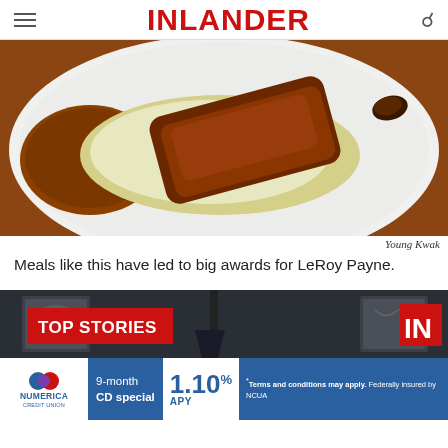INLANDER
[Figure (photo): Close-up photo of a plate with BBQ ribs on top of coleslaw with baked beans on a white plate on a wooden table surface.]
Young Kwak
Meals like this have led to big awards for LeRoy Payne.
[Figure (photo): Top Stories banner image with dark interior room showing artwork on walls and a lamp, with red TOP STORIES label and red IN logo on the right.]
[Figure (infographic): Numerica Credit Union advertisement: 9-month CD special at 1.10% APY. Terms and conditions may apply. Federally insured by NCUA.]